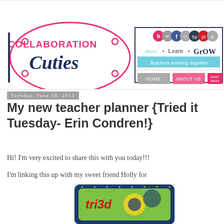[Figure (logo): Collaboration Cuties blog header with logo showing 'COLLABORATION Cuties' in pink and navy, tagline 'Share • Learn • Grow Teachers working together', social media icons, and navigation bar with HOME, ABOUT US, MUST READ buttons]
Tuesday, June 18, 2013
My new teacher planner {Tried it Tuesday- Erin Condren!}
Hi!  I'm very excited to share this with you today!!!
I'm linking this up with my sweet friend Holly for
[Figure (photo): Colorful 'Tried it' badge/button with gears, navy blue border with polka dots, green and yellow design with red text reading 'tried']